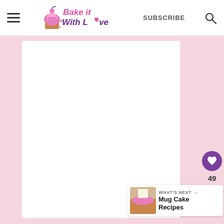Bake it With Love — SUBSCRIBE
[Figure (screenshot): White content card on pink background with floating heart/share action buttons and a What's Next navigation bar showing Mug Cake Recipes]
49
WHAT'S NEXT → Mug Cake Recipes